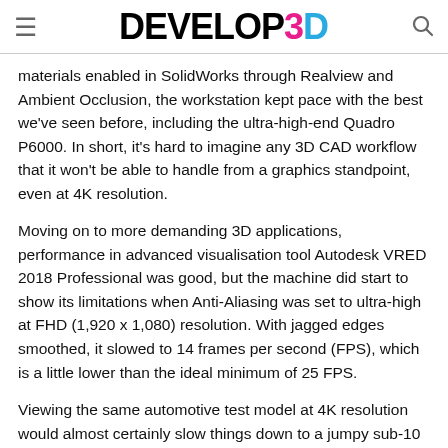DEVELOP3D
materials enabled in SolidWorks through Realview and Ambient Occlusion, the workstation kept pace with the best we've seen before, including the ultra-high-end Quadro P6000. In short, it's hard to imagine any 3D CAD workflow that it won't be able to handle from a graphics standpoint, even at 4K resolution.
Moving on to more demanding 3D applications, performance in advanced visualisation tool Autodesk VRED 2018 Professional was good, but the machine did start to show its limitations when Anti-Aliasing was set to ultra-high at FHD (1,920 x 1,080) resolution. With jagged edges smoothed, it slowed to 14 frames per second (FPS), which is a little lower than the ideal minimum of 25 FPS.
Viewing the same automotive test model at 4K resolution would almost certainly slow things down to a jumpy sub-10 FPS.